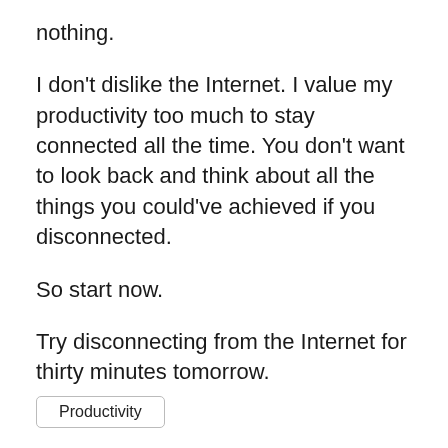nothing.
I don't dislike the Internet. I value my productivity too much to stay connected all the time. You don't want to look back and think about all the things you could've achieved if you disconnected.
So start now.
Try disconnecting from the Internet for thirty minutes tomorrow.
Productivity